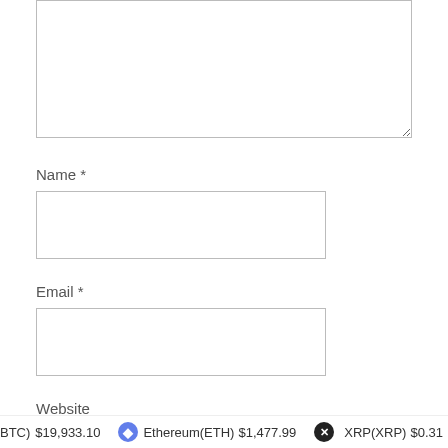[Figure (screenshot): A comment form textarea (large, resizable input box) at the top of the page, partially cut off.]
Name *
[Figure (screenshot): Name input field (empty text box)]
Email *
[Figure (screenshot): Email input field (empty text box)]
Website
[Figure (screenshot): Website input field (empty text box, partially cut off at bottom)]
BTC) $19,933.10  Ethereum(ETH) $1,477.99  XRP(XRP) $0.31